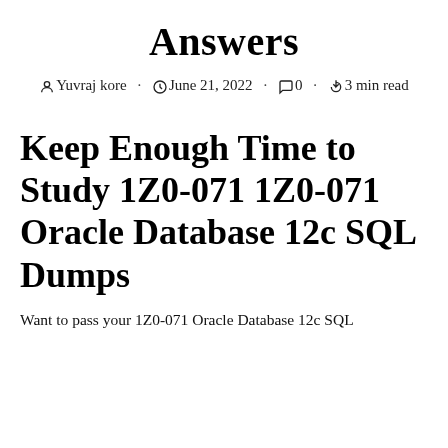Answers
Yuvraj kore · June 21, 2022 · 0 · 3 min read
Keep Enough Time to Study 1Z0-071 1Z0-071 Oracle Database 12c SQL Dumps
Want to pass your 1Z0-071 Oracle Database 12c SQL